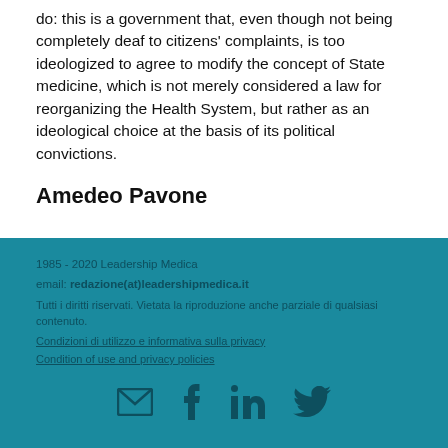do: this is a government that, even though not being completely deaf to citizens' complaints, is too ideologized to agree to modify the concept of State medicine, which is not merely considered a law for reorganizing the Health System, but rather as an ideological choice at the basis of its political convictions.
Amedeo Pavone
1985 - 2020 Leadership Medica
email: redazione(at)leadershipmedica.it
Tutti i diritti riservati. Vietata la riproduzione anche parziale di qualsiasi contenuto.
Condizioni di utilizzo e informativa sulla privacy
Condition of use and privacy policies